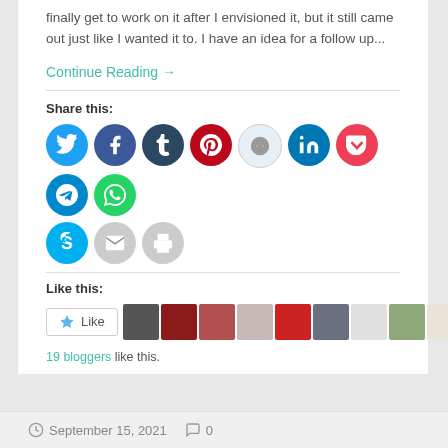finally get to work on it after I envisioned it, but it still came out just like I wanted it to. I have an idea for a follow up...
Continue Reading →
Share this:
[Figure (infographic): Row of social media sharing icon buttons: Twitter (blue), Facebook (blue), Tumblr (dark navy), Pinterest (red), Reddit (light blue/white), LinkedIn (dark blue), Pocket (red), Telegram (blue), WhatsApp (green), Skype (blue), Email (gray), Print (gray)]
Like this:
[Figure (infographic): Like button with star icon and 9 blogger avatar thumbnails]
19 bloggers like this.
September 15, 2021   0